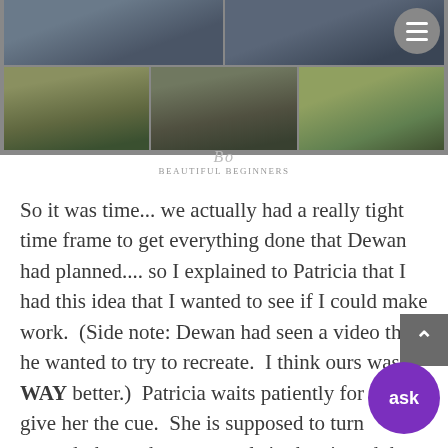[Figure (photo): Photo collage of an outdoor engagement/couples session. Top row shows two cropped photos of a couple standing outdoors with bare trees in the background. Bottom row shows three wide landscape photos: couple walking on a path, person kneeling on grass, couple standing together in golden light.]
beautiful beginners (watermark/logo)
So it was time... we actually had a really tight time frame to get everything done that Dewan had planned.... so I explained to Patricia that I had this idea that I wanted to see if I could make work.  (Side note: Dewan had seen a video that he wanted to try to recreate.  I think ours was WAY better.)  Patricia waits patiently for me to give her the cue.  She is supposed to turn around, throw the rose petals in the air and then Dewan will hug her tight.  What she